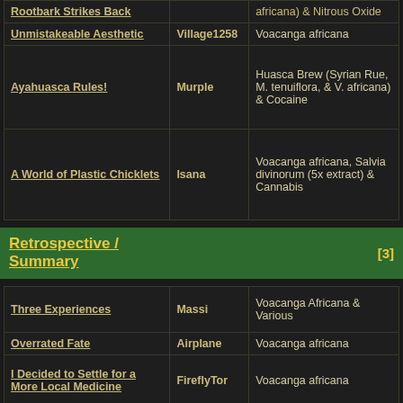| Title | User | Substance |
| --- | --- | --- |
| Rootbark Strikes Back |  | africana) & Nitrous Oxide |
| Unmistakeable Aesthetic | Village1258 | Voacanga africana |
| Ayahuasca Rules! | Murple | Huasca Brew (Syrian Rue, M. tenuiflora, & V. africana) & Cocaine |
| A World of Plastic Chicklets | Isana | Voacanga africana, Salvia divinorum (5x extract) & Cannabis |
Retrospective / Summary [3]
| Title | User | Substance |
| --- | --- | --- |
| Three Experiences | Massi | Voacanga Africana & Various |
| Overrated Fate | Airplane | Voacanga africana |
| I Decided to Settle for a More Local Medicine | FireflyTor | Voacanga africana |
Preparation / Recipes [2]
| Title | User | Substance |
| --- | --- | --- |
| Ayahuasca Rules! | Murple | Huasca Brew (Syrian Rue, M. tenuiflora, & V. africana) &... |